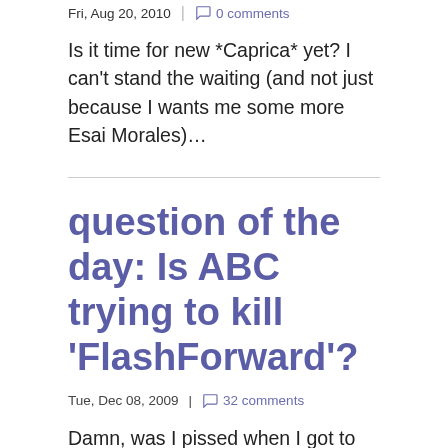Fri, Aug 20, 2010 | 0 comments
Is it time for new *Caprica* yet? I can't stand the waiting (and not just because I wants me some more Esai Morales)…
question of the day: Is ABC trying to kill 'FlashForward'?
Tue, Dec 08, 2009 | 32 comments
Damn, was I pissed when I got to the end of last week's episode of FlashForward and saw the little notice ABC snuck in there that the show wouldn't be returning till